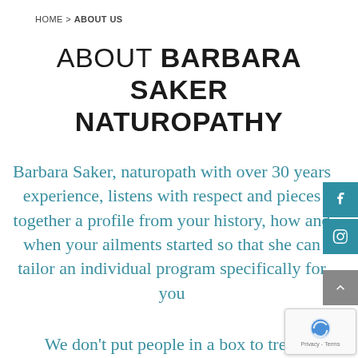HOME > ABOUT US
ABOUT BARBARA SAKER NATUROPATHY
Barbara Saker, naturopath with over 30 years experience, listens with respect and pieces together a profile from your history, how and when your ailments started so that she can tailor an individual program specifically for you
We don't put people in a box to treat